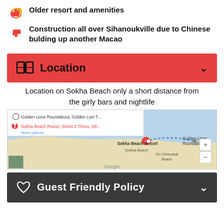Older resort and amenities
Construction all over Sihanoukville due to Chinese bulding up another Macao
Location
Location on Sokha Beach only a short distance from the girly bars and nightlife
[Figure (map): Google map showing route from Golden Lions Roundabout to Sokha Beach Resort, Street 2 Thnou, Sihanoukville]
Guest Friendly Policy